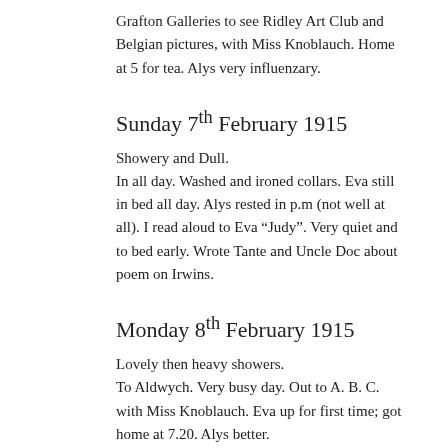Grafton Galleries to see Ridley Art Club and Belgian pictures, with Miss Knoblauch. Home at 5 for tea. Alys very influenzary.
Sunday 7th February 1915
Showery and Dull.
In all day. Washed and ironed collars. Eva still in bed all day. Alys rested in p.m (not well at all). I read aloud to Eva “Judy”. Very quiet and to bed early. Wrote Tante and Uncle Doc about poem on Irwins.
Monday 8th February 1915
Lovely then heavy showers.
To Aldwych. Very busy day. Out to A. B. C. with Miss Knoblauch. Eva up for first time; got home at 7.20. Alys better.